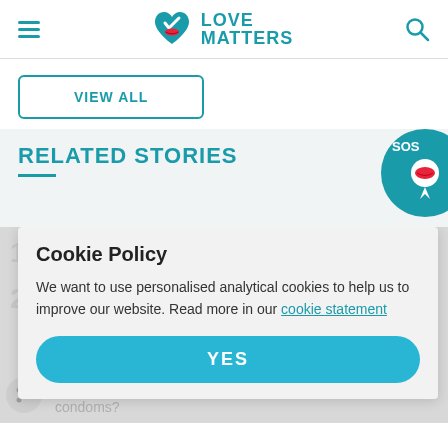LOVE MATTERS
VIEW ALL
RELATED STORIES
[Figure (illustration): SOS badge with lips/kiss icon on teal circular background, partially visible at top right of Related Stories section]
Cookie Policy
We want to use personalised analytical cookies to help us to improve our website. Read more in our cookie statement
YES